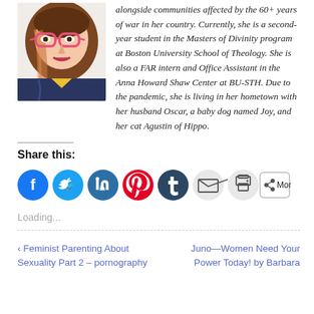[Figure (photo): Portrait photo of a young woman with glasses (pink frames), long brown hair with highlights, wearing a denim jacket over a yellow top]
alongside communities affected by the 60+ years of war in her country. Currently, she is a second-year student in the Masters of Divinity program at Boston University School of Theology. She is also a FAR intern and Office Assistant in the Anna Howard Shaw Center at BU-STH. Due to the pandemic, she is living in her hometown with her husband Oscar, a baby dog named Joy, and her cat Agustin of Hippo.
Share this:
[Figure (infographic): Row of social sharing icon buttons: Facebook (blue circle), Twitter (light blue circle), LinkedIn (blue circle), Pinterest (red circle), Tumblr (dark blue circle), Email (light grey circle), Print (light grey circle), and a More button with share icon]
Loading...
‹ Feminist Parenting About Sexuality Part 2 – pornography
Juno—Women Need Your Power Today! by Barbara